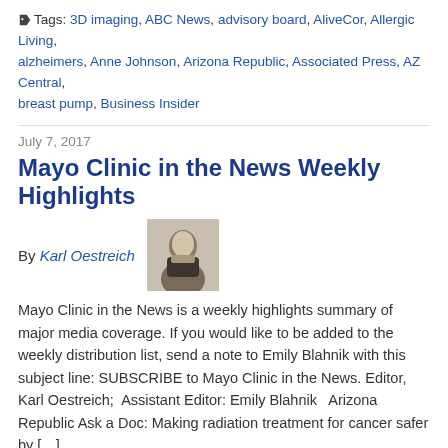Tags: 3D imaging, ABC News, advisory board, AliveCor, Allergic Living, alzheimers, Anne Johnson, Arizona Republic, Associated Press, AZ Central, breast pump, Business Insider
July 7, 2017
Mayo Clinic in the News Weekly Highlights
By Karl Oestreich
[Figure (photo): Black and white portrait photo of Karl Oestreich]
Mayo Clinic in the News is a weekly highlights summary of major media coverage. If you would like to be added to the weekly distribution list, send a note to Emily Blahnik with this subject line: SUBSCRIBE to Mayo Clinic in the News. Editor, Karl Oestreich;  Assistant Editor: Emily Blahnik   Arizona Republic Ask a Doc: Making radiation treatment for cancer safer by […]
View full entry
Tags: 3 News Now, advisory board, anxiety, apps, Arizona Republic, AsiaOne, breastfeeding, Cancer Letter, cancer treatment, CBS Sports, Center for Individualized Medicine, chronic illness